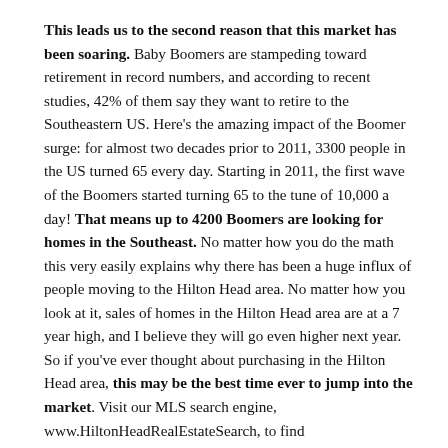This leads us to the second reason that this market has been soaring. Baby Boomers are stampeding toward retirement in record numbers, and according to recent studies, 42% of them say they want to retire to the Southeastern US. Here's the amazing impact of the Boomer surge: for almost two decades prior to 2011, 3300 people in the US turned 65 every day. Starting in 2011, the first wave of the Boomers started turning 65 to the tune of 10,000 a day! That means up to 4200 Boomers are looking for homes in the Southeast. No matter how you do the math this very easily explains why there has been a huge influx of people moving to the Hilton Head area. No matter how you look at it, sales of homes in the Hilton Head area are at a 7 year high, and I believe they will go even higher next year. So if you've ever thought about purchasing in the Hilton Head area, this may be the best time ever to jump into the market. Visit our MLS search engine, www.HiltonHeadRealEstateSearch, to find